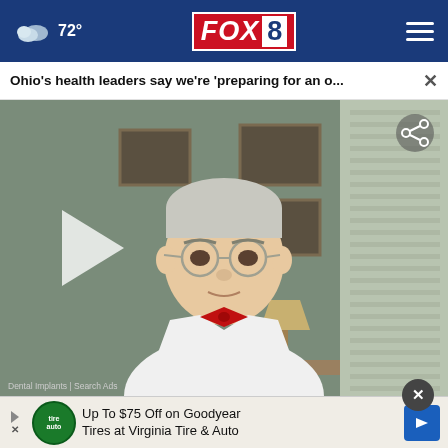72° FOX 8
Ohio's health leaders say we're 'preparing for an o...
[Figure (screenshot): Video thumbnail of a doctor in a white lab coat and red bow tie speaking to camera, shown paused with a play button on the left side. A share icon appears in the top-right of the video. Bottom caption reads 'Dental Implants | Search Ads'.]
Dental Implants | Search Ads
Up To $75 Off on Goodyear Tires at Virginia Tire & Auto